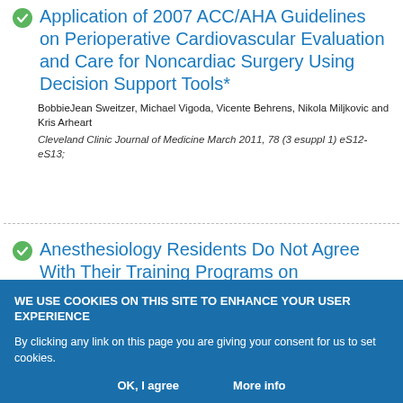Application of 2007 ACC/AHA Guidelines on Perioperative Cardiovascular Evaluation and Care for Noncardiac Surgery Using Decision Support Tools*
BobbieJean Sweitzer, Michael Vigoda, Vicente Behrens, Nikola Miljkovic and Kris Arheart
Cleveland Clinic Journal of Medicine March 2011, 78 (3 esuppl 1) eS12-eS13;
Anesthesiology Residents Do Not Agree With Their Training Programs on
WE USE COOKIES ON THIS SITE TO ENHANCE YOUR USER EXPERIENCE
By clicking any link on this page you are giving your consent for us to set cookies.